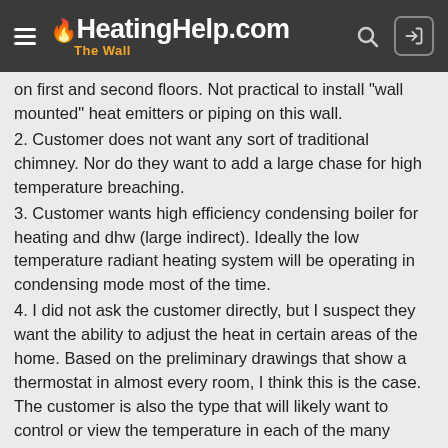HeatingHelp.com The Wall
on first and second floors. Not practical to install "wall mounted" heat emitters or piping on this wall.
2. Customer does not want any sort of traditional chimney. Nor do they want to add a large chase for high temperature breaching.
3. Customer wants high efficiency condensing boiler for heating and dhw (large indirect). Ideally the low temperature radiant heating system will be operating in condensing mode most of the time.
4. I did not ask the customer directly, but I suspect they want the ability to adjust the heat in certain areas of the home. Based on the preliminary drawings that show a thermostat in almost every room, I think this is the case. The customer is also the type that will likely want to control or view the temperature in each of the many zones on his phone at any given time.